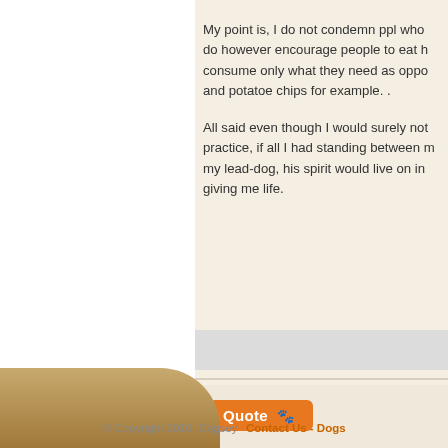My point is, I do not condemn ppl who do however encourage people to eat h consume only what they need as oppo and potatoe chips for example. .

All said even though I would surely not practice, if all I had standing between m my lead-dog, his spirit would live on in giving me life.
[Figure (other): Orange 'Quote' button with paw print icon]
[Figure (other): Grey search/navigation bar]
© Copyright 2016, Dogsey   Contact Us - Dogs